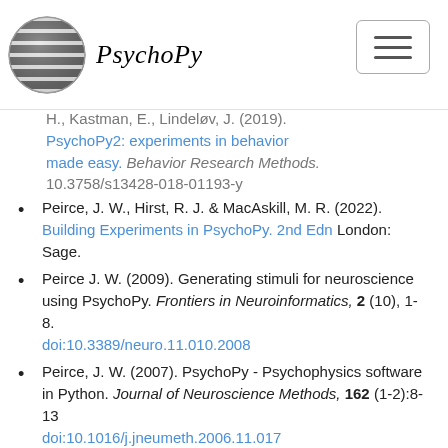PsychoPy
...tamin, M. A., Hochenberger, M., Sage, H., Kastman, E., Lindeløv, J. (2019). PsychoPy2: experiments in behavior made easy. Behavior Research Methods. 10.3758/s13428-018-01193-y
Peirce, J. W., Hirst, R. J. & MacAskill, M. R. (2022). Building Experiments in PsychoPy. 2nd Edn London: Sage.
Peirce J. W. (2009). Generating stimuli for neuroscience using PsychoPy. Frontiers in Neuroinformatics, 2 (10), 1-8. doi:10.3389/neuro.11.010.2008
Peirce, J. W. (2007). PsychoPy - Psychophysics software in Python. Journal of Neuroscience Methods, 162 (1-2):8-13 doi:10.1016/j.jneumeth.2006.11.017